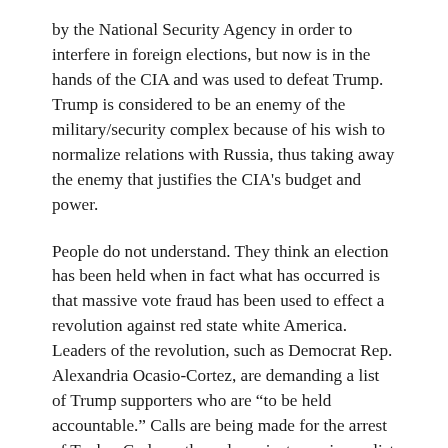by the National Security Agency in order to interfere in foreign elections, but now is in the hands of the CIA and was used to defeat Trump. Trump is considered to be an enemy of the military/security complex because of his wish to normalize relations with Russia, thus taking away the enemy that justifies the CIA's budget and power.
People do not understand. They think an election has been held when in fact what has occurred is that massive vote fraud has been used to effect a revolution against red state white America. Leaders of the revolution, such as Democrat Rep. Alexandria Ocasio-Cortez, are demanding a list of Trump supporters who are “to be held accountable.” Calls are being made for the arrest of Tucker Carlson, the only mainstream journalist who supported President Trump.
In a recent column I wrote: